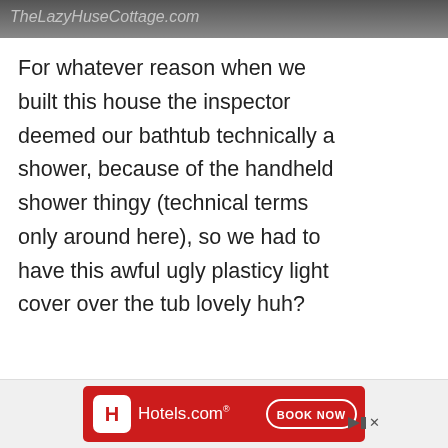[Figure (screenshot): Top portion of a blog site header image partially visible, showing script/cursive text watermark on dark background]
For whatever reason when we built this house the inspector deemed our bathtub technically a shower, because of the handheld shower thingy (technical terms only around here), so we had to have this awful ugly plasticy light cover over the tub lovely huh?
[Figure (other): Circular scroll-up button with upward chevron arrow]
80
[Figure (other): Circular heart/like button]
[Figure (other): Dark navy circular search button with magnifying glass icon]
[Figure (other): Hotels.com advertisement banner with BOOK NOW button]